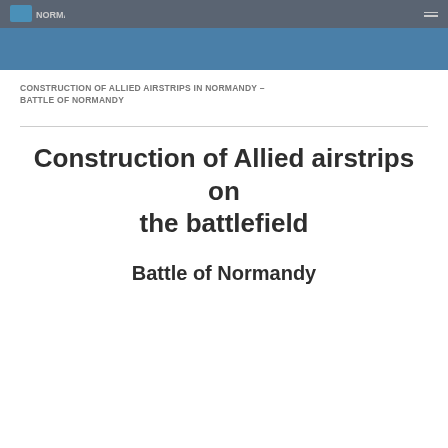CONSTRUCTION OF ALLIED AIRSTRIPS IN NORMANDY – BATTLE OF NORMANDY
Construction of Allied airstrips on the battlefield
Battle of Normandy